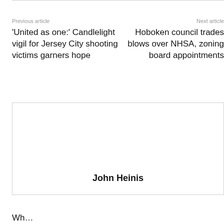Previous article
Next article
'United as one:' Candlelight vigil for Jersey City shooting victims garners hope
Hoboken council trades blows over NHSA, zoning board appointments
[Figure (photo): Author photo box for John Heinis]
John Heinis
Wh…